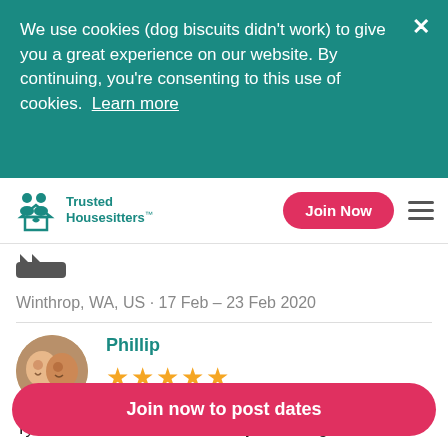We use cookies (dog biscuits didn't work) to give you a great experience on our website. By continuing, you're consenting to this use of cookies. Learn more
Trusted Housesitters™
[Figure (illustration): Cat/paw icon logo in teal]
Winthrop, WA, US · 17 Feb – 23 Feb 2020
[Figure (photo): Circular profile photo of two people (Phillip and partner) smiling]
Phillip
★★★★★ (5 stars)
Tyrus and Jane did a fantastic job looking after our
Join now to post dates